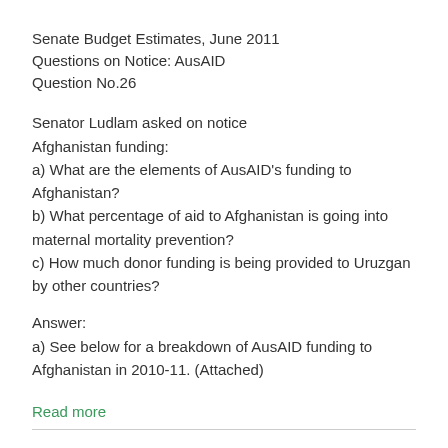Senate Budget Estimates, June 2011
Questions on Notice: AusAID
Question No.26
Senator Ludlam asked on notice
Afghanistan funding:
a) What are the elements of AusAID's funding to Afghanistan?
b) What percentage of aid to Afghanistan is going into maternal mortality prevention?
c) How much donor funding is being provided to Uruzgan by other countries?
Answer:
a) See below for a breakdown of AusAID funding to Afghanistan in 2010-11. (Attached)
Read more